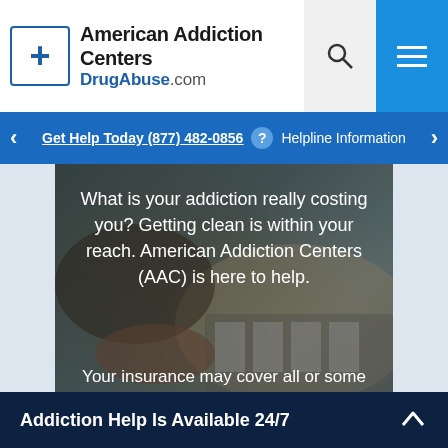American Addiction Centers DrugAbuse.com
Get Help Today (877) 482-0856 ? Helpline Information
[Figure (photo): Blurred background image of hands with a credit card near a laptop, overlaid with white text about addiction costs and AAC help.]
What is your addiction really costing you? Getting clean is within your reach. American Addiction Centers (AAC) is here to help.
Your insurance may cover all or some of your rehab at an AAC Facility.
Addiction Help Is Available 24/7